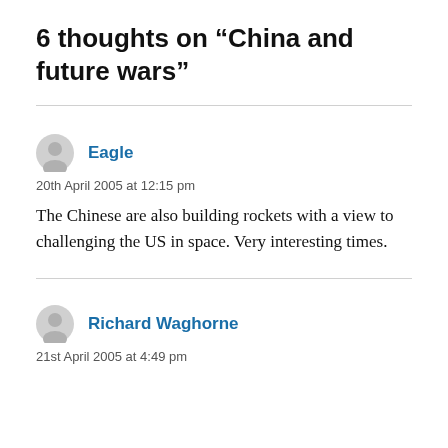6 thoughts on “China and future wars”
Eagle
20th April 2005 at 12:15 pm
The Chinese are also building rockets with a view to challenging the US in space. Very interesting times.
Richard Waghorne
21st April 2005 at 4:49 pm